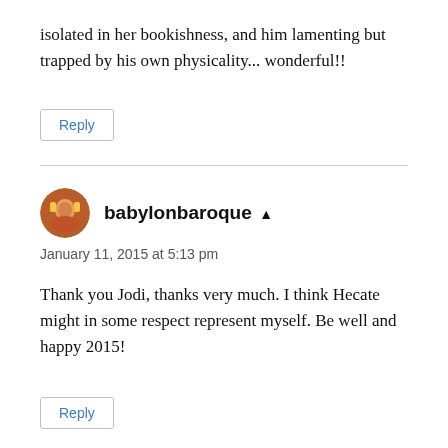isolated in her bookishness, and him lamenting but trapped by his own physicality... wonderful!!
Reply
babylonbaroque ▲
January 11, 2015 at 5:13 pm
Thank you Jodi, thanks very much. I think Hecate might in some respect represent myself. Be well and happy 2015!
Reply